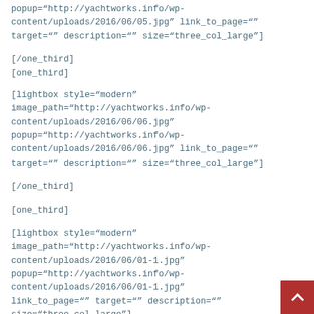popup="http://yachtworks.info/wp-content/uploads/2016/06/05.jpg" link_to_page="" target="" description="" size="three_col_large"]
[/one_third]
[one_third]
[lightbox style="modern" image_path="http://yachtworks.info/wp-content/uploads/2016/06/06.jpg" popup="http://yachtworks.info/wp-content/uploads/2016/06/06.jpg" link_to_page="" target="" description="" size="three_col_large"]
[/one_third]
[one_third]
[lightbox style="modern" image_path="http://yachtworks.info/wp-content/uploads/2016/06/01-1.jpg" popup="http://yachtworks.info/wp-content/uploads/2016/06/01-1.jpg" link_to_page="" target="" description="" size="three_col_large"]